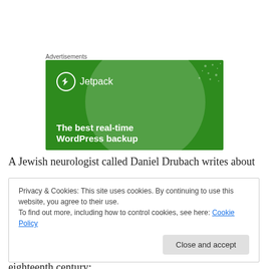Advertisements
[Figure (illustration): Jetpack advertisement banner with green background, Jetpack logo at top left with lightning bolt icon, decorative circle and dot pattern, tagline 'The best real-time WordPress backup']
A Jewish neurologist called Daniel Drubach writes about
Privacy & Cookies: This site uses cookies. By continuing to use this website, you agree to their use.
To find out more, including how to control cookies, see here: Cookie Policy
[Close and accept button]
eighteenth century: